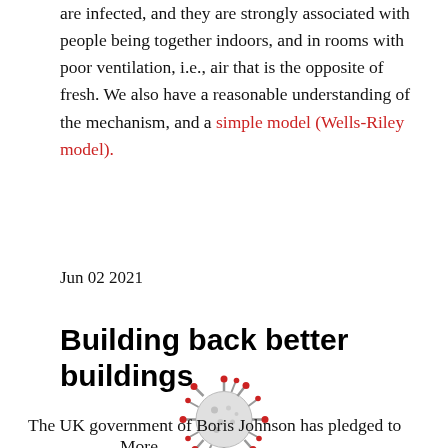are infected, and they are strongly associated with people being together indoors, and in rooms with poor ventilation, i.e., air that is the opposite of fresh. We also have a reasonable understanding of the mechanism, and a simple model (Wells-Riley model).
More ›
Jun 02 2021
Building back better buildings
[Figure (illustration): Coronavirus / COVID-19 virus particle illustration]
The UK government of Boris Johnson has pledged to